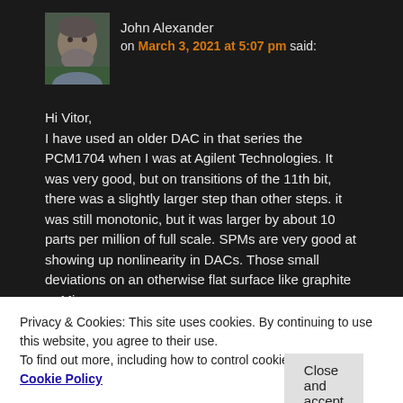[Figure (photo): Avatar photo of John Alexander, a middle-aged man with a beard, outdoor background]
John Alexander
on March 3, 2021 at 5:07 pm said:
Hi Vitor,
I have used an older DAC in that series the PCM1704 when I was at Agilent Technologies. It was very good, but on transitions of the 11th bit, there was a slightly larger step than other steps. it was still monotonic, but it was larger by about 10 parts per million of full scale. SPMs are very good at showing up nonlinearity in DACs. Those small deviations on an otherwise flat surface like graphite or Mica
Privacy & Cookies: This site uses cookies. By continuing to use this website, you agree to their use.
To find out more, including how to control cookies, see here: Cookie Policy
Close and accept
STM is 0.1nm so it should be disappearing